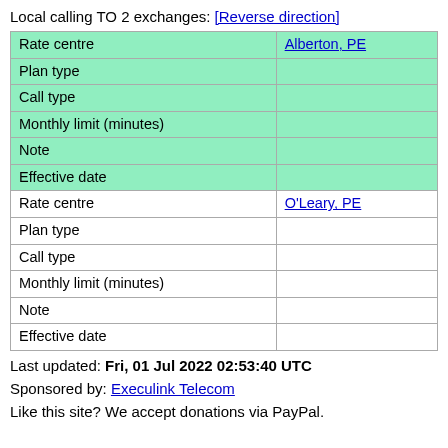Local calling TO 2 exchanges: [Reverse direction]
| Rate centre | Alberton, PE |
| Plan type |  |
| Call type |  |
| Monthly limit (minutes) |  |
| Note |  |
| Effective date |  |
| Rate centre | O'Leary, PE |
| Plan type |  |
| Call type |  |
| Monthly limit (minutes) |  |
| Note |  |
| Effective date |  |
Last updated: Fri, 01 Jul 2022 02:53:40 UTC
Sponsored by: Execulink Telecom
Like this site? We accept donations via PayPal.